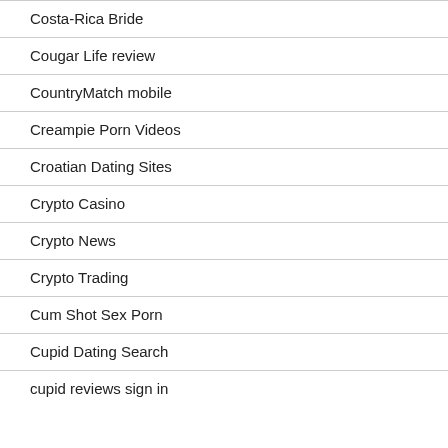Costa-Rica Bride
Cougar Life review
CountryMatch mobile
Creampie Porn Videos
Croatian Dating Sites
Crypto Casino
Crypto News
Crypto Trading
Cum Shot Sex Porn
Cupid Dating Search
cupid reviews sign in